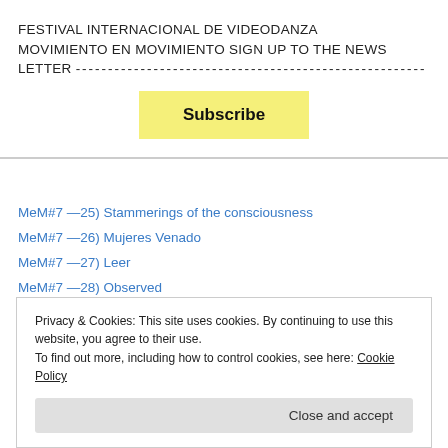FESTIVAL INTERNACIONAL DE VIDEODANZA MOVIMIENTO EN MOVIMIENTO SIGN UP TO THE NEWS LETTER --------------------------------------------------
[Figure (other): Subscribe button (yellow background)]
MeM#7 —25) Stammerings of the consciousness
MeM#7 —26) Mujeres Venado
MeM#7 —27) Leer
MeM#7 —28) Observed
MeM#7 —29) Floating Chronologies
MeM#7 —30) Escaleras sin Fin-2
Privacy & Cookies: This site uses cookies. By continuing to use this website, you agree to their use.
To find out more, including how to control cookies, see here: Cookie Policy
Close and accept